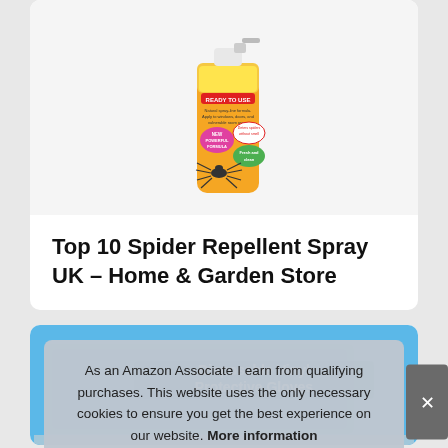[Figure (photo): Spider repellent spray bottle with yellow and orange label, showing a spider on the front. Label reads 'Repellent READY TO USE', 'NEW POWERFUL FORMULA', 'Deters spiders without smell', 'Fresh clean scent'.]
Top 10 Spider Repellent Spray UK – Home & Garden Store
[Figure (photo): Box of Disposable Vinyl Protective Gloves with blue background and white bold text on the front.]
As an Amazon Associate I earn from qualifying purchases. This website uses the only necessary cookies to ensure you get the best experience on our website. More information